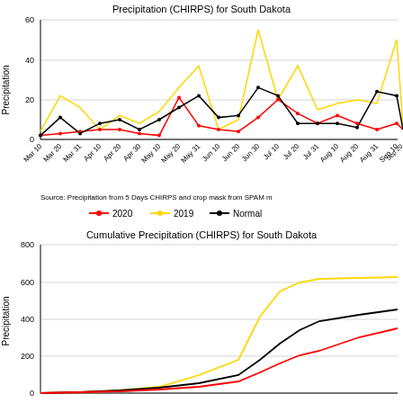[Figure (line-chart): Line chart showing periodic precipitation for South Dakota from Mar 10 to Sep 20, with three series: 2020 (red), 2019 (yellow), Normal (black). Y-axis 0-60.]
Source: Precipitation from 5 Days CHIRPS and crop mask from SPAM m
[Figure (line-chart): Line chart showing cumulative precipitation for South Dakota from Mar to Sep, with three series: 2020 (red), 2019 (yellow), Normal (black). Y-axis 0-800.]